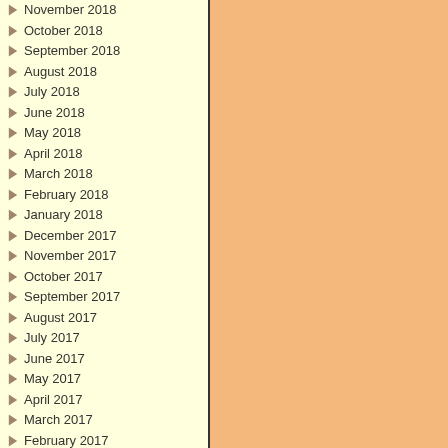November 2018
October 2018
September 2018
August 2018
July 2018
June 2018
May 2018
April 2018
March 2018
February 2018
January 2018
December 2017
November 2017
October 2017
September 2017
August 2017
July 2017
June 2017
May 2017
April 2017
March 2017
February 2017
January 2017
December 2016
November 2016
October 2016
September 2016
August 2016
July 2016